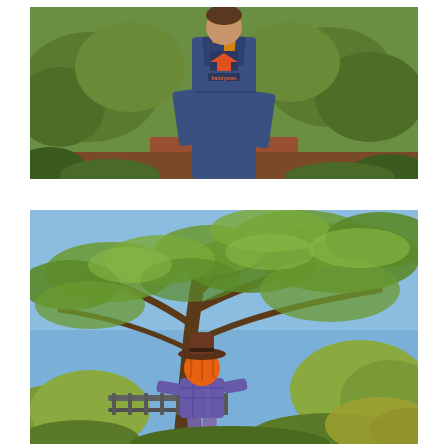[Figure (photo): Person wearing denim overalls with a 'Handyman' logo/brand printed on the chest bib, standing outdoors among desert shrubs and plants with a pathway visible in the background. Yellow/orange shirt visible at collar. Desert landscaping with reddish soil.]
[Figure (photo): A figure (possibly a scarecrow or person) wearing a cowboy hat, orange jack-o-lantern or orange head, and a blue/purple plaid shirt, standing near a metal fence railing surrounded by a large mesquite or palo verde tree with feathery green foliage against a blue sky. Desert botanical garden setting.]